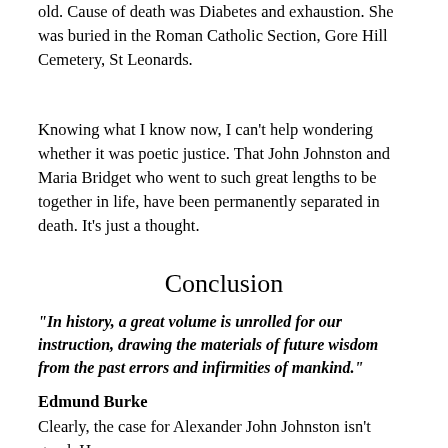old. Cause of death was Diabetes and exhaustion. She was buried in the Roman Catholic Section, Gore Hill Cemetery, St Leonards.
Knowing what I know now, I can't help wondering whether it was poetic justice. That John Johnston and Maria Bridget who went to such great lengths to be together in life, have been permanently separated in death. It's just a thought.
Conclusion
“In history, a great volume is unrolled for our instruction, drawing the materials of future wisdom from the past errors and infirmities of mankind.”
Edmund Burke
Clearly, the case for Alexander John Johnston isn't good. He